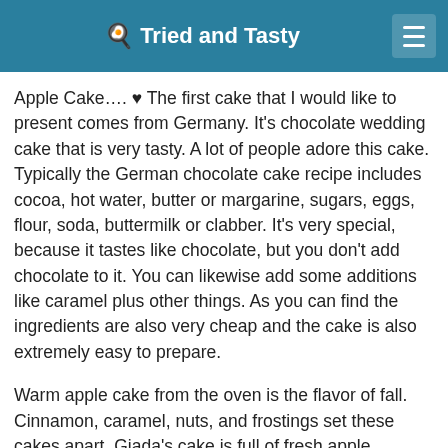🍳 Tried and Tasty
Apple Cake…. ♥ The first cake that I would like to present comes from Germany. It's chocolate wedding cake that is very tasty. A lot of people adore this cake. Typically the German chocolate cake recipe includes cocoa, hot water, butter or margarine, sugars, eggs, flour, soda, buttermilk or clabber. It's very special, because it tastes like chocolate, but you don't add chocolate to it. You can likewise add some additions like caramel plus other things. As you can find the ingredients are also very cheap and the cake is also extremely easy to prepare.
Warm apple cake from the oven is the flavor of fall. Cinnamon, caramel, nuts, and frostings set these cakes apart. Giada's cake is full of fresh apple